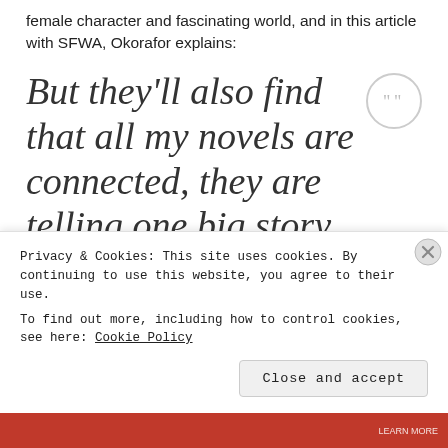female character and fascinating world, and in this article with SFWA, Okorafor explains:
But they'll also find that all my novels are connected, they are telling one big story. Akata Witch is a prequel to The Shadow
Privacy & Cookies: This site uses cookies. By continuing to use this website, you agree to their use. To find out more, including how to control cookies, see here: Cookie Policy
Close and accept